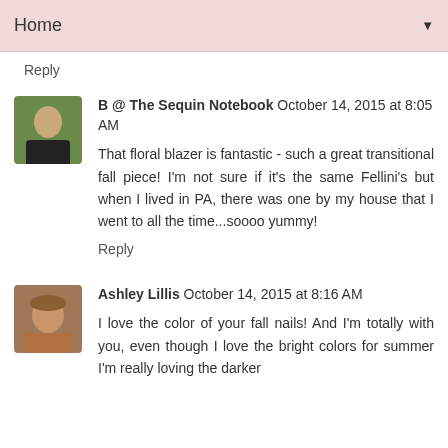Home ▼
Reply
B @ The Sequin Notebook October 14, 2015 at 8:05 AM
That floral blazer is fantastic - such a great transitional fall piece! I'm not sure if it's the same Fellini's but when I lived in PA, there was one by my house that I went to all the time...soooo yummy!
Reply
Ashley Lillis October 14, 2015 at 8:16 AM
I love the color of your fall nails! And I'm totally with you, even though I love the bright colors for summer I'm really loving the darker